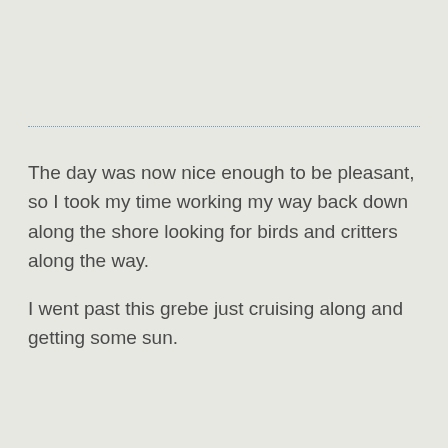The day was now nice enough to be pleasant, so I took my time working my way back down along the shore looking for birds and critters along the way.

I went past this grebe just cruising along and getting some sun.